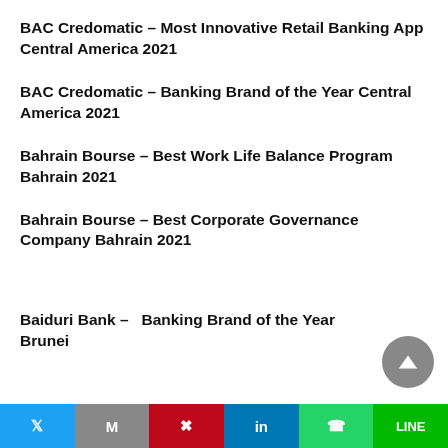BAC Credomatic – Most Innovative Retail Banking App Central America 2021
BAC Credomatic – Banking Brand of the Year Central America 2021
Bahrain Bourse – Best Work Life Balance Program Bahrain 2021
Bahrain Bourse – Best Corporate Governance Company Bahrain 2021
Baiduri Bank – Banking Brand of the Year Brunei